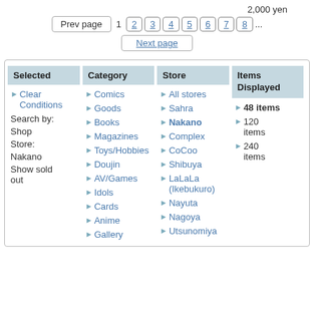2,000 yen
Prev page | 1 2 3 4 5 6 7 8 ... | Next page
| Selected | Category | Store | Items Displayed |
| --- | --- | --- | --- |
| Clear Conditions
Search by: Shop
Store: Nakano
Show sold out | Comics
Goods
Books
Magazines
Toys/Hobbies
Doujin
AV/Games
Idols
Cards
Anime
Gallery | All stores
Sahra
Nakano
Complex
CoCoo
Shibuya
LaLaLa (Ikebukuro)
Nayuta
Nagoya
Utsunomiya | 48 items
120 items
240 items |